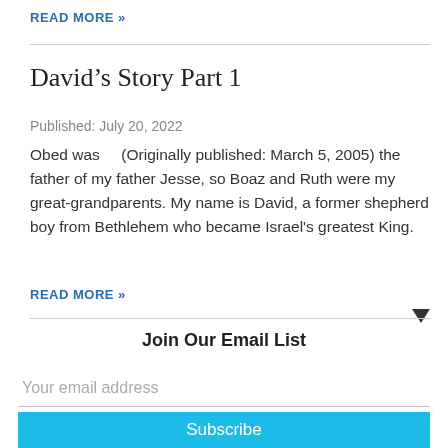READ MORE »
David's Story Part 1
Published: July 20, 2022
Obed was    (Originally published: March 5, 2005) the father of my father Jesse, so Boaz and Ruth were my great-grandparents. My name is David, a former shepherd boy from Bethlehem who became Israel's greatest King.
READ MORE »
Join Our Email List
Your email address
Subscribe